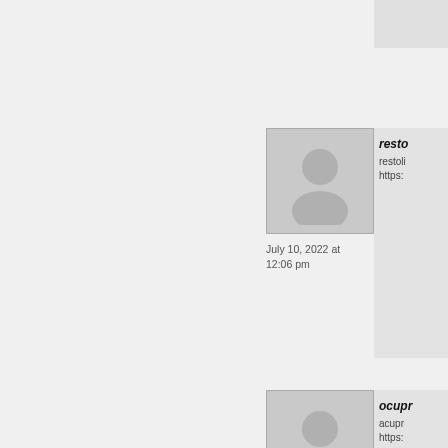[Figure (photo): Grey top bar partially visible at top right]
[Figure (photo): Default user avatar placeholder image (grey silhouette) for comment 1, dated July 10, 2022 at 12:06 pm]
July 10, 2022 at 12:06 pm
resto
restoli
https:
[Figure (photo): Default user avatar placeholder image (grey silhouette) for comment 2, dated July 11, 2022 at 5:42 am]
July 11, 2022 at 5:42 am
ocupr
acupr
https: